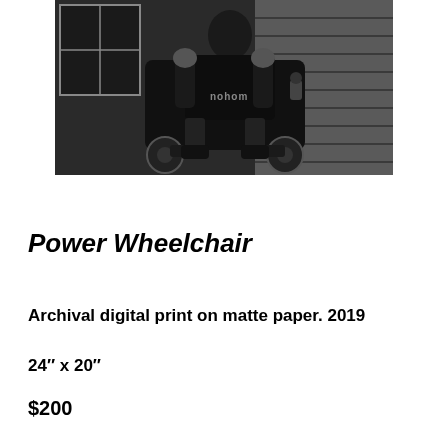[Figure (photo): Black and white photograph of a person in a power wheelchair, wearing dark clothing and gloves, photographed from a slightly elevated angle near a building with horizontal siding and a window visible in the background.]
Power Wheelchair
Archival digital print on matte paper. 2019
24″ x 20″
$200